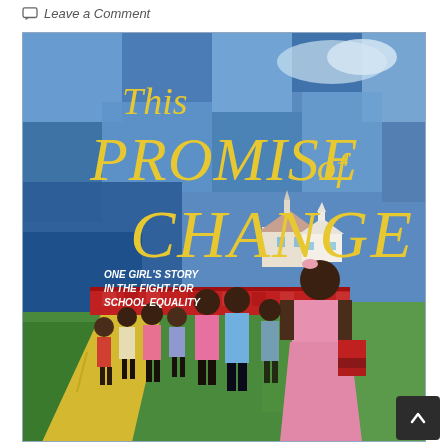Leave a Comment
[Figure (illustration): Book cover of 'This Promise of Change: One Girl's Story in the Fight for School Equality' — illustrated cover showing a young Black girl in a pink dress holding books, walking with a group of students down a yellow road, a white schoolhouse in the background, with blue patchwork-quilt sky and green foliage. Title text in large gold letters reads 'This PROMISE of CHANGE'. Subtitle text reads 'ONE GIRL'S STORY IN THE FIGHT FOR SCHOOL EQUALITY'.]